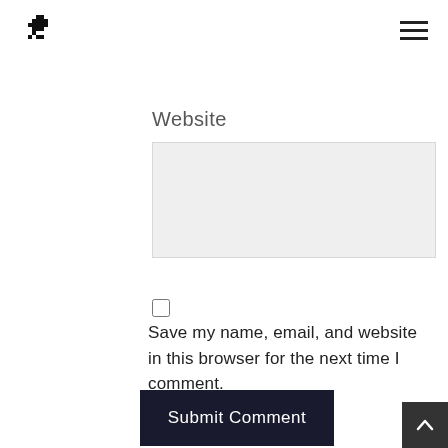[Figure (logo): Small black pixel-art bird logo in top-left corner]
[Figure (other): Hamburger menu icon (three horizontal lines) in top-right corner]
Website
[Figure (other): Empty text input field with light gray background for Website]
Save my name, email, and website in this browser for the next time I comment.
Submit Comment
[Figure (other): Scroll-to-top button (dark square with upward chevron) in bottom-right corner]